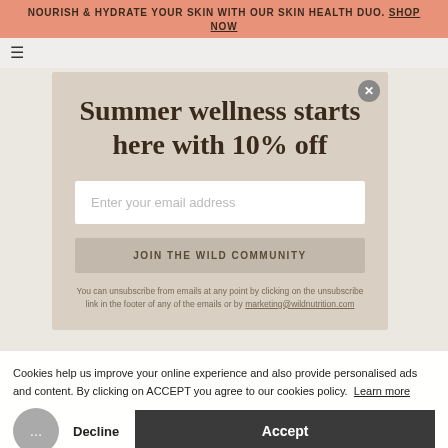NOURISH & HYDRATE YOUR SKIN WITH OUR SKIN HEALTH DUO. SHOP NOW
Summer wellness starts here with 10% off
Enter your email address
JOIN THE WILD COMMUNITY
You can unsubscribe from emails at any point by clicking on the unsubscribe link in the footer of any of the emails or by marketing@wildnutrition.com
Cookies help us improve your online experience and also provide personalised ads and content. By clicking on ACCEPT you agree to our cookies policy.  Learn more
Decline
Accept
VEGAN
VITAMIN D